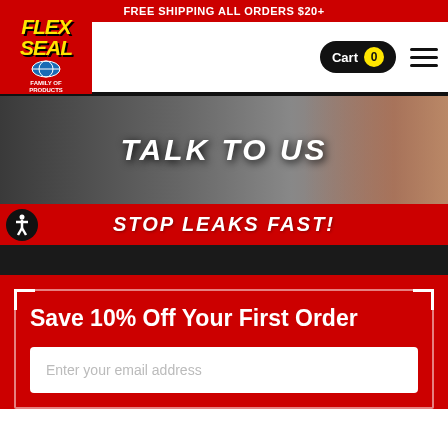FREE SHIPPING ALL ORDERS $20+
[Figure (logo): Flex Seal Family of Products logo — red background with yellow italic FLEX SEAL text and globe graphic]
Cart 0
[Figure (photo): Hero banner showing woman talking on phone with Flex Seal product, dark overlay]
TALK TO US
STOP LEAKS FAST!
Save 10% Off Your First Order
Enter your email address